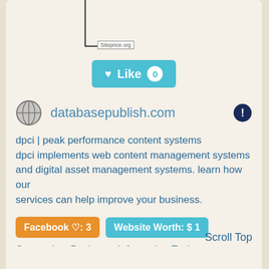[Figure (other): Siteprice.org watermark over a partially visible website screenshot/image area]
♥ Like 0
databasepublish.com
dpci | peak performance content systems dpci implements web content management systems and digital asset management systems. learn how our services can help improve your business.
Facebook ♡: 3
Website Worth: $ 1
Scroll Top
Categories: Business, Information Techn...gy
Is it similar?
👍 Yes 0
👎 No 0